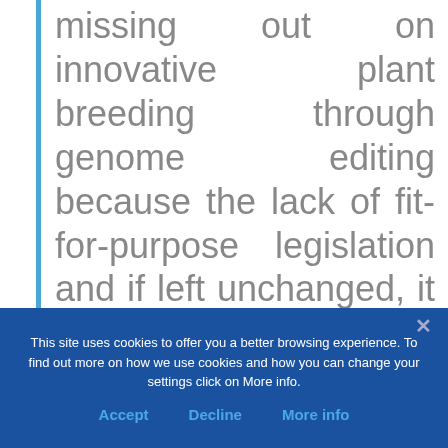missing out on innovative plant breeding through genome editing because the lack of fit-for-purpose legislation and if left unchanged, it will have dramatic consequences for Europe.
This site uses cookies to offer you a better browsing experience. To find out more on how we use cookies and how you can change your settings click on More info.
Accept   Decline   More info